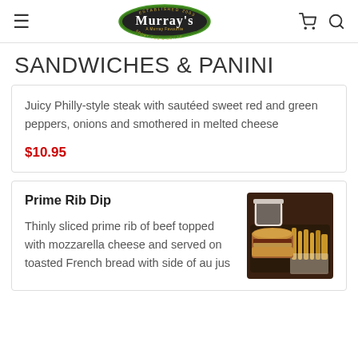Murray's — Pub & Grille (logo, cart icon, search icon)
SANDWICHES & PANINI
Juicy Philly-style steak with sautéed sweet red and green peppers, onions and smothered in melted cheese
$10.95
Prime Rib Dip
Thinly sliced prime rib of beef topped with mozzarella cheese and served on toasted French bread with side of au jus
[Figure (photo): Photo of Prime Rib Dip sandwich with fries and dipping sauce]